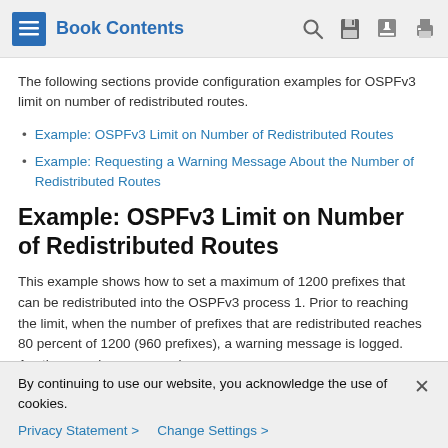Book Contents
The following sections provide configuration examples for OSPFv3 limit on number of redistributed routes.
Example: OSPFv3 Limit on Number of Redistributed Routes
Example: Requesting a Warning Message About the Number of Redistributed Routes
Example: OSPFv3 Limit on Number of Redistributed Routes
This example shows how to set a maximum of 1200 prefixes that can be redistributed into the OSPFv3 process 1. Prior to reaching the limit, when the number of prefixes that are redistributed reaches 80 percent of 1200 (960 prefixes), a warning message is logged. Another warning message is
By continuing to use our website, you acknowledge the use of cookies.
Privacy Statement > Change Settings >